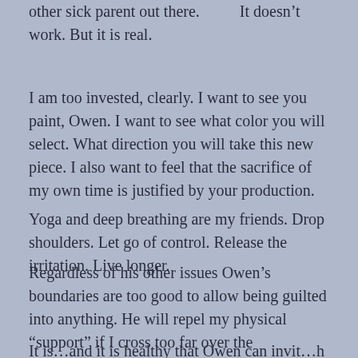other sick parent out there.          It doesn't work. But it is real.
I am too invested, clearly. I want to see you paint, Owen. I want to see what color you will select. What direction you will take this new piece. I also want to feel that the sacrifice of my own time is justified by your production.
Yoga and deep breathing are my friends. Drop shoulders. Let go of control. Release the irritation. Live longer.
Regardless of his other issues Owen’s boundaries are too good to allow being guilted into anything. He will repel my physical “support” if I cross too far over the psychological space between us.
It is…and it is healthy that Owen can invit…h with…